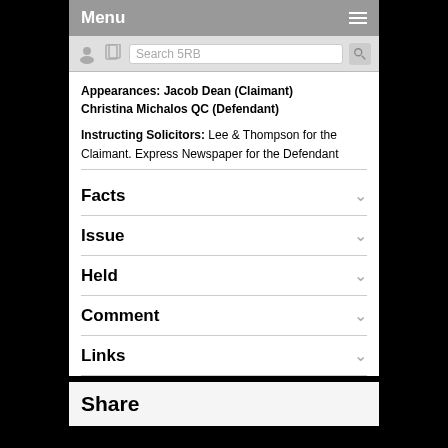Menu
Appearances: Jacob Dean (Claimant) Christina Michalos QC (Defendant)
Instructing Solicitors: Lee & Thompson for the Claimant. Express Newspaper for the Defendant
Facts
Issue
Held
Comment
Links
Share